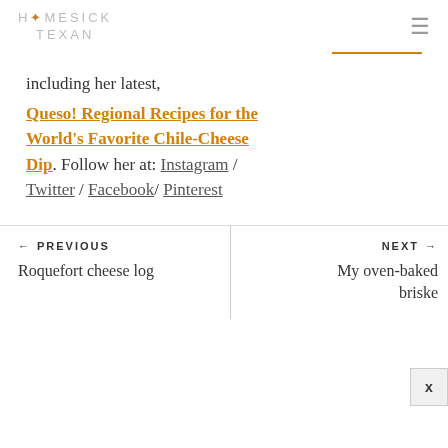HOMESICK TEXAN
including her latest,
Queso! Regional Recipes for the World's Favorite Chile-Cheese Dip. Follow her at: Instagram / Twitter / Facebook/ Pinterest
← PREVIOUS
Roquefort cheese log
NEXT →
My oven-baked briske